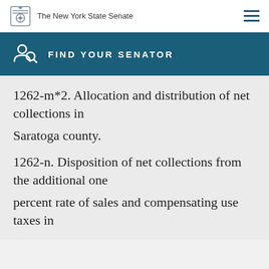The New York State Senate
FIND YOUR SENATOR
1262-m*2. Allocation and distribution of net collections in
Saratoga county.
1262-n. Disposition of net collections from the additional one
percent rate of sales and compensating use taxes in